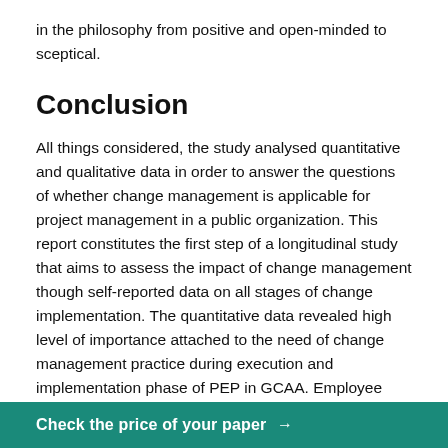in the philosophy from positive and open-minded to sceptical.
Conclusion
All things considered, the study analysed quantitative and qualitative data in order to answer the questions of whether change management is applicable for project management in a public organization. This report constitutes the first step of a longitudinal study that aims to assess the impact of change management though self-reported data on all stages of change implementation. The quantitative data revealed high level of importance attached to the need of change management practice during execution and implementation phase of PEP in GCAA. Employee involvement was also supported almost unanimously. According to the presented descriptive statistics, the value placed on technology as a driver of hypotheses related to
Check the price of your paper →